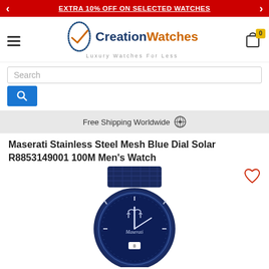EXTRA 10% OFF ON SELECTED WATCHES
[Figure (logo): Creation Watches logo with oval checkmark graphic and tagline 'Luxury Watches For Less']
Search
Free Shipping Worldwide
Maserati Stainless Steel Mesh Blue Dial Solar R8853149001 100M Men's Watch
[Figure (photo): Maserati men's watch with blue stainless steel mesh band and blue dial showing Maserati trident logo and brand name, date window at 6 o'clock position]